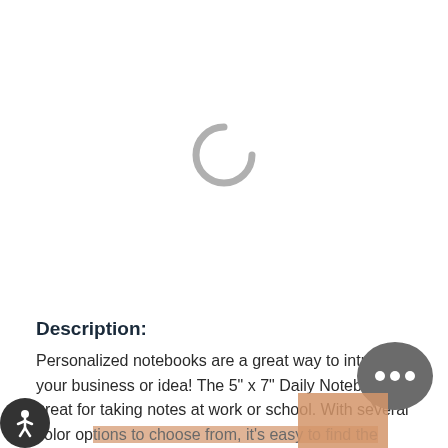[Figure (other): Loading spinner graphic — a dark grey partial arc/circle indicating content is loading, centered in the upper white area of the page]
Description:
Personalized notebooks are a great way to introduce your business or idea! The 5" x 7" Daily Notebook is great for taking notes at work or school. With several color options to choose from, it's easy to find the perfect fit for your included one-color logo.